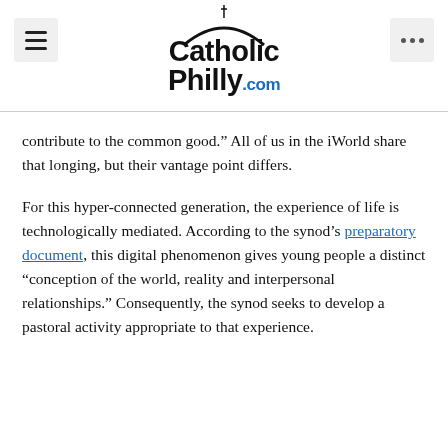CatholicPhilly.com
contribute to the common good.” All of us in the iWorld share that longing, but their vantage point differs.
For this hyper-connected generation, the experience of life is technologically mediated. According to the synod’s preparatory document, this digital phenomenon gives young people a distinct “conception of the world, reality and interpersonal relationships.” Consequently, the synod seeks to develop a pastoral activity appropriate to that experience.